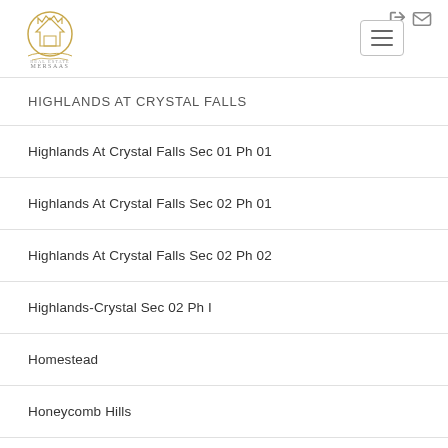Mersaas Real Estate — navigation header with logo and menu button
HIGHLANDS AT CRYSTAL FALLS
Highlands At Crystal Falls Sec 01 Ph 01
Highlands At Crystal Falls Sec 02 Ph 01
Highlands At Crystal Falls Sec 02 Ph 02
Highlands-Crystal Sec 02 Ph I
Homestead
Honeycomb Hills